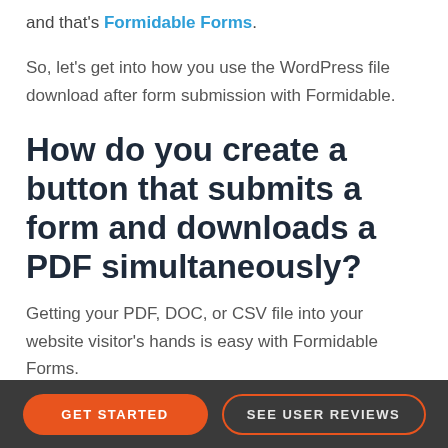and that's Formidable Forms.
So, let's get into how you use the WordPress file download after form submission with Formidable.
How do you create a button that submits a form and downloads a PDF simultaneously?
Getting your PDF, DOC, or CSV file into your website visitor's hands is easy with Formidable Forms.
GET STARTED | SEE USER REVIEWS